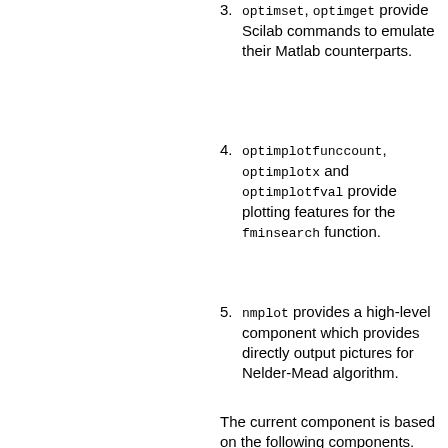(continuation) are automatically configured.
3. optimset, optimget provide Scilab commands to emulate their Matlab counterparts.
4. optimplotfunccount, optimplotx and optimplotfval provide plotting features for the fminsearch function.
5. nmplot provides a high-level component which provides directly output pictures for Nelder-Mead algorithm.
The current component is based on the following components.